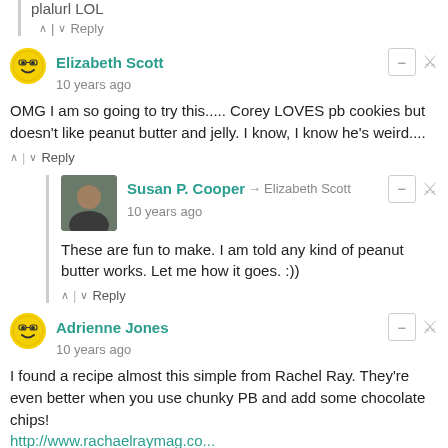plalurl LOL
^ | v Reply
Elizabeth Scott
10 years ago
OMG I am so going to try this..... Corey LOVES pb cookies but doesn't like peanut butter and jelly. I know, I know he's weird....
^ | v Reply
Susan P. Cooper → Elizabeth Scott
10 years ago
These are fun to make. I am told any kind of peanut butter works. Let me how it goes. :))
^ | v Reply
Adrienne Jones
10 years ago
I found a recipe almost this simple from Rachel Ray. They're even better when you use chunky PB and add some chocolate chips!
http://www.rachaelraymag.co...